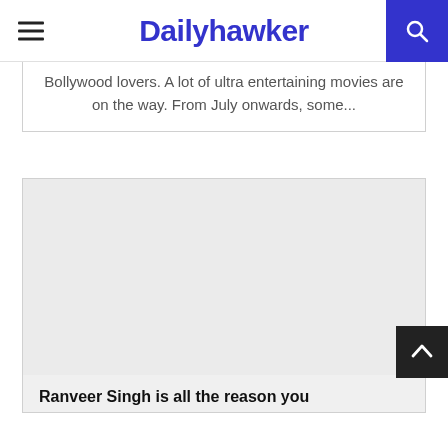Dailyhawker
Bollywood lovers. A lot of ultra entertaining movies are on the way. From July onwards, some...
[Figure (photo): Large light gray placeholder image area for an article thumbnail]
Ranveer Singh is all the reason you need to watch (Ranveer) Alithallu